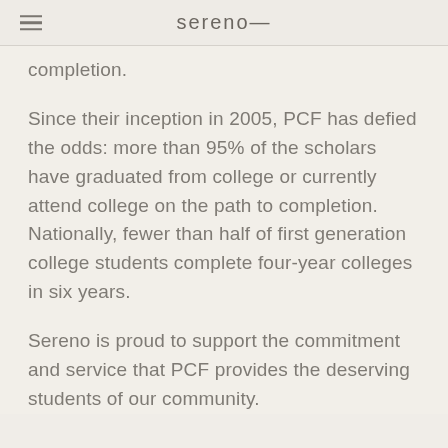sereno—
completion.
Since their inception in 2005, PCF has defied the odds: more than 95% of the scholars have graduated from college or currently attend college on the path to completion. Nationally, fewer than half of first generation college students complete four-year colleges in six years.
Sereno is proud to support the commitment and service that PCF provides the deserving students of our community.